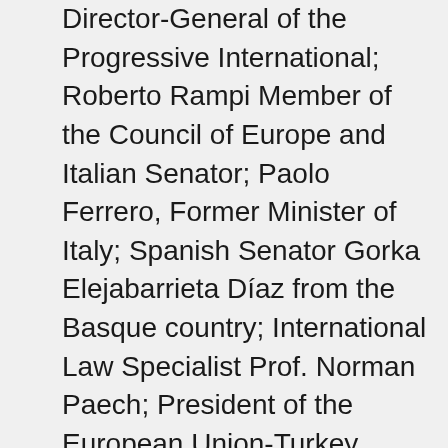Director-General of the Progressive International; Roberto Rampi Member of the Council of Europe and Italian Senator; Paolo Ferrero, Former Minister of Italy; Spanish Senator Gorka Elejabarrieta Díaz from the Basque country; International Law Specialist Prof. Norman Paech; President of the European Union-Turkey Citizens' Commission (EUTCC) / Norway Prof. Kariane Westrheim; writer and editor Nils Andersson from France; French Kurdistan Solidarity Coordination Member, Joel Dutto; Nora Cortinas, founding member of the Argentine Plaza de Mayo Mothers Organization; well-known peace activist from India, Prof. Achin Vanaik; The Secretary General of the European Union-Turkey Citizens'